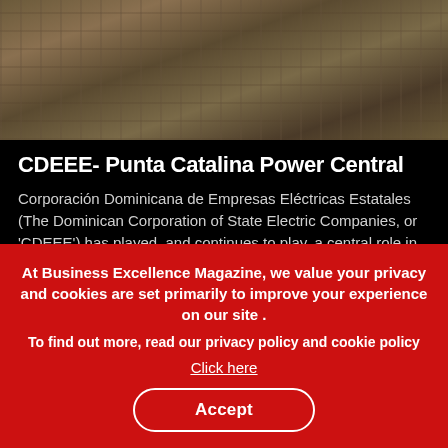[Figure (photo): Aerial view of an industrial construction site, showing heavy equipment, machinery, containers, and building materials spread across a large area.]
CDEEE- Punta Catalina Power Central
Corporación Dominicana de Empresas Eléctricas Estatales (The Dominican Corporation of State Electric Companies, or 'CDEEE') has played, and continues to play, a central role in
At Business Excellence Magazine, we value your privacy and cookies are set primarily to improve your experience on our site . To find out more, read our privacy policy and cookie policy Click here Accept